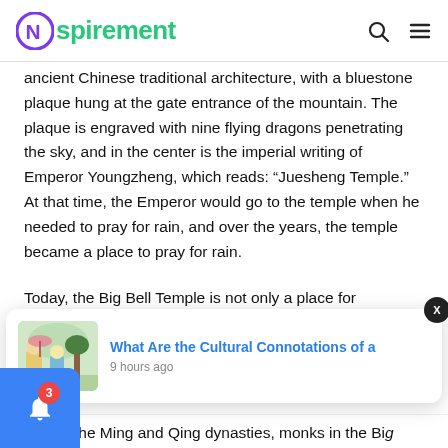Nspirement
ancient Chinese traditional architecture, with a bluestone plaque hung at the gate entrance of the mountain. The plaque is engraved with nine flying dragons penetrating the sky, and in the center is the imperial writing of Emperor Youngzheng, which reads: “Juesheng Temple.” At that time, the Emperor would go to the temple when he needed to pray for rain, and over the years, the temple became a place to pray for rain.
Today, the Big Bell Temple is not only a place for Buddhists, it’s [obscured] oles to ho[obscured]
[Figure (screenshot): Notification popup showing a thumbnail image of a traditional Chinese painting and the text 'What Are the Cultural Connotations of a' with timestamp '9 hours ago']
During the Ming and Qing dynasties, monks in the Bi[g]